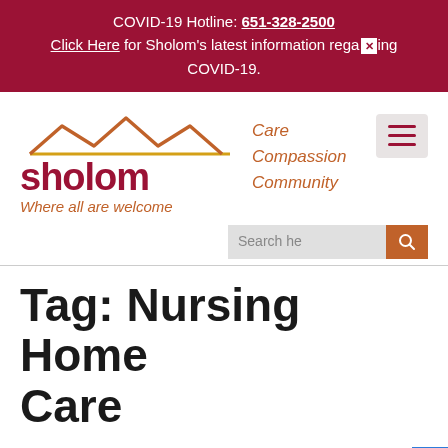COVID-19 Hotline: 651-328-2500
Click Here for Sholom's latest information regarding COVID-19.
[Figure (logo): Sholom logo with mountain/roof icon in orange/gold, text 'sholom' in dark red, tagline 'Where all are welcome' in orange italic, and 'Care Compassion Community' in orange italic]
Tag: Nursing Home Care
Golden Valley Nursing